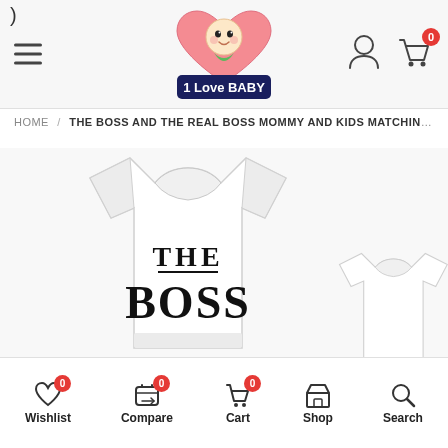1 Love Baby — navigation header with hamburger menu, logo, user icon, cart (0)
HOME / THE BOSS AND THE REAL BOSS MOMMY AND KIDS MATCHING T-SHIRT
[Figure (photo): Two white t-shirts on a white background. The front t-shirt shows the text 'THE BOSS' in large bold serif font. Behind and to the right is a smaller white t-shirt partially visible.]
Wishlist 0 | Compare 0 | Cart 0 | Shop | Search